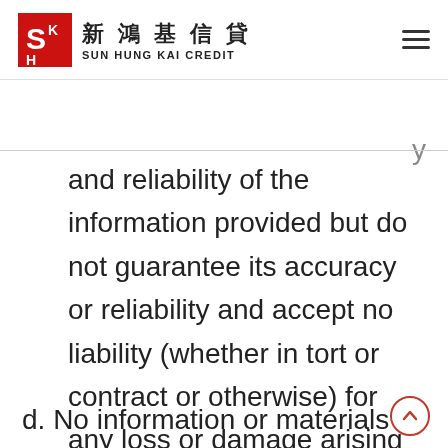新鴻基信貸 SUN HUNG KAI CREDIT
and reliability of the information provided but do not guarantee its accuracy or reliability and accept no liability (whether in tort or contract or otherwise) for any loss or damage arising from any inaccuracies or omissions.
d. No information or materials